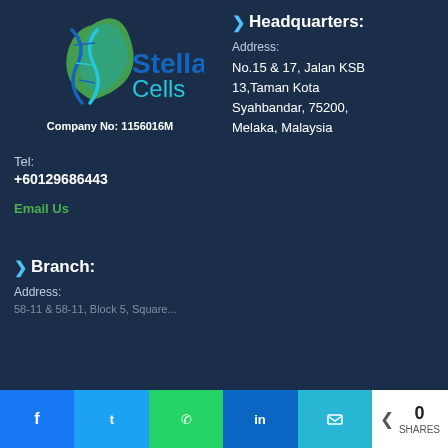[Figure (logo): Stellar Cells company logo with teal/green leaf and DNA helix motif]
Company No: 1156016M
Headquarters:
Address:
No.15 & 17, Jalan KSB 13,Taman Kota Syahbandar, 75200, Melaka, Malaysia
Tel:
+60129686443
Email Us
Branch:
Address:
58-11 & 58-11, Block 5, Square...